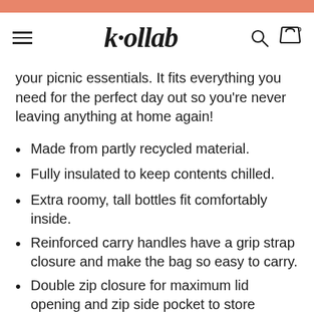kollab
your picnic essentials. It fits everything you need for the perfect day out so you're never leaving anything at home again!
Made from partly recycled material.
Fully insulated to keep contents chilled.
Extra roomy, tall bottles fit comfortably inside.
Reinforced carry handles have a grip strap closure and make the bag so easy to carry.
Double zip closure for maximum lid opening and zip side pocket to store essentials.